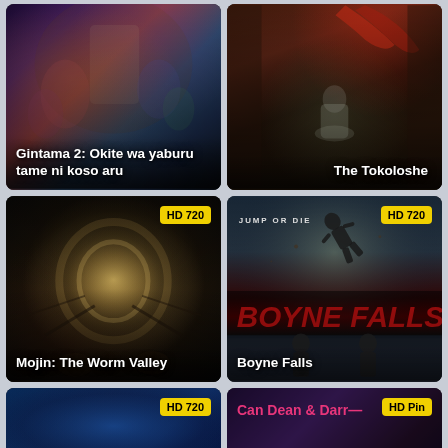[Figure (photo): Movie poster for Gintama 2: Okite wa yaburu tame ni koso aru showing anime-style live action characters]
Gintama 2: Okite wa yaburu tame ni koso aru
[Figure (photo): Movie poster for The Tokoloshe showing a girl sitting in a dark corridor with red cloth above]
The Tokoloshe
[Figure (photo): Movie poster for Mojin: The Worm Valley showing a fantasy underground cave scene with creatures]
Mojin: The Worm Valley
[Figure (photo): Movie poster for Boyne Falls showing a person falling with Jump or Die text, red title text on dark background]
Boyne Falls
[Figure (photo): Partial movie poster bottom left, appears to be a blue themed action movie with HD 720 badge]
[Figure (photo): Partial movie poster bottom right for Can Dean & Darren with HD badge in pink text]